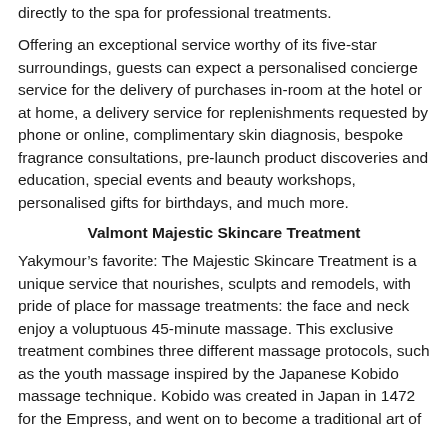directly to the spa for professional treatments.
Offering an exceptional service worthy of its five-star surroundings, guests can expect a personalised concierge service for the delivery of purchases in-room at the hotel or at home, a delivery service for replenishments requested by phone or online, complimentary skin diagnosis, bespoke fragrance consultations, pre-launch product discoveries and education, special events and beauty workshops, personalised gifts for birthdays, and much more.
Valmont Majestic Skincare Treatment
Yakymour’s favorite: The Majestic Skincare Treatment is a unique service that nourishes, sculpts and remodels, with pride of place for massage treatments: the face and neck enjoy a voluptuous 45-minute massage. This exclusive treatment combines three different massage protocols, such as the youth massage inspired by the Japanese Kobido massage technique. Kobido was created in Japan in 1472 for the Empress, and went on to become a traditional art of